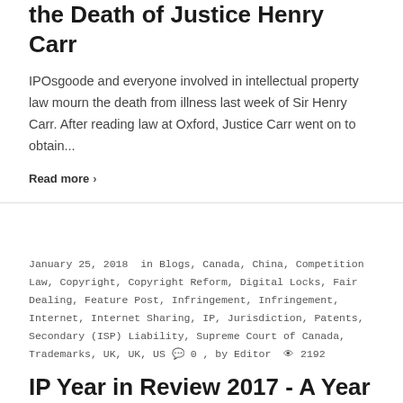the Death of Justice Henry Carr
IPOsgoode and everyone involved in intellectual property law mourn the death from illness last week of Sir Henry Carr. After reading law at Oxford, Justice Carr went on to obtain...
Read more ›
January 25, 2018  in Blogs, Canada, China, Competition Law, Copyright, Copyright Reform, Digital Locks, Fair Dealing, Feature Post, Infringement, Infringement, Internet, Internet Sharing, IP, Jurisdiction, Patents, Secondary (ISP) Liability, Supreme Court of Canada, Trademarks, UK, UK, US 💬 0 , by Editor 👁 2192
IP Year in Review 2017 - A Year of Promises Made, Kept, and Abandoned